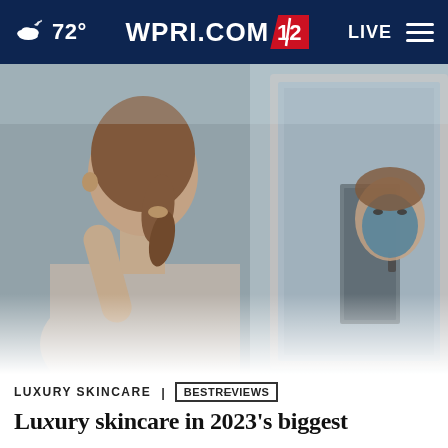WPRI.COM 12 | 72° | LIVE
[Figure (photo): Woman with ponytail looking at herself in a bathroom mirror with a face mask applied, viewed from behind]
LUXURY SKINCARE | BESTREVIEWS
Luxury skincare in 2023's biggest...